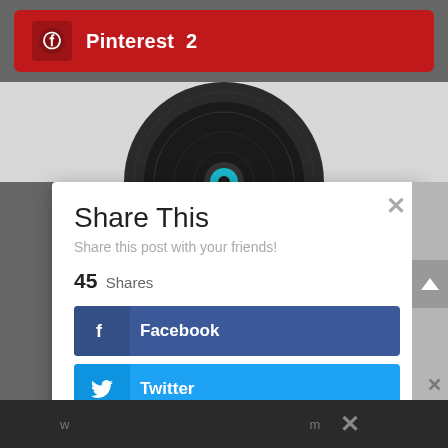Pinterest 2
[Figure (screenshot): Partial view of a dark vinyl record with blue center label, showing top half only against a light grey background]
Share This
Share this post with your friends!
45 Shares
Facebook
Twitter
Google+
Pinterest